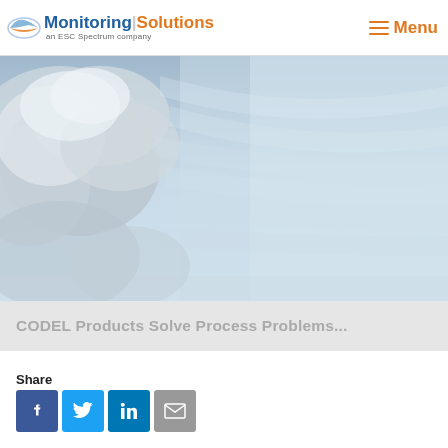Monitoring|Solutions an ESC Spectrum company | Menu
[Figure (photo): A dramatic sky photo with storm clouds on the left blending into a clear blue sky on the right, used as a hero banner image]
CODEL Products Solve Process Problems...
Share
[Figure (infographic): Share buttons for Facebook, Twitter, LinkedIn, and Email]